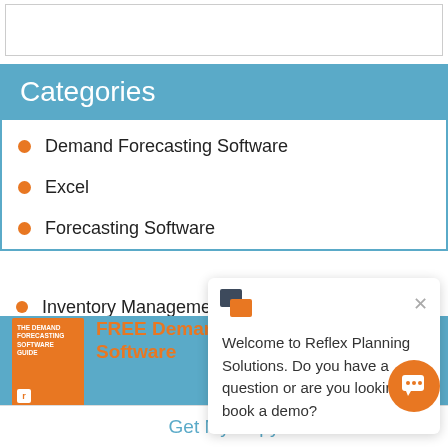Categories
Demand Forecasting Software
Excel
Forecasting Software
Inventory Management Software
[Figure (screenshot): Chat popup from Reflex Planning Solutions with message: Welcome to Reflex Planning Solutions. Do you have a question or are you looking to book a demo?]
FREE Demand Forecasting Software Guide
This guide explains more about how to use demand forecasting software to improve efficiency, lower costs & reduce wastage.
Get My Copy